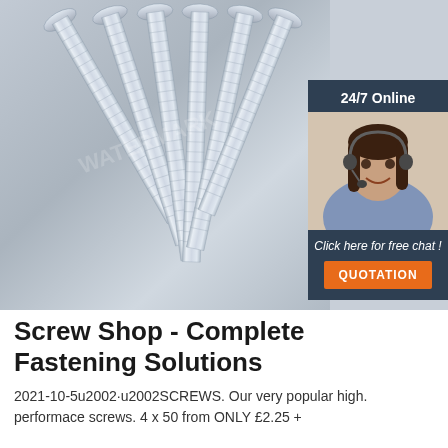[Figure (photo): Product photo showing six silver zinc-plated carriage bolts/screws fanned out on a metallic grey surface. An overlay box on the right shows a customer service representative wearing a headset with text '24/7 Online', 'Click here for free chat!' and an orange 'QUOTATION' button.]
Screw Shop - Complete Fastening Solutions
2021-10-5u2002·u2002SCREWS. Our very popular high. performace screws. 4 x 50 from ONLY £2.25 +